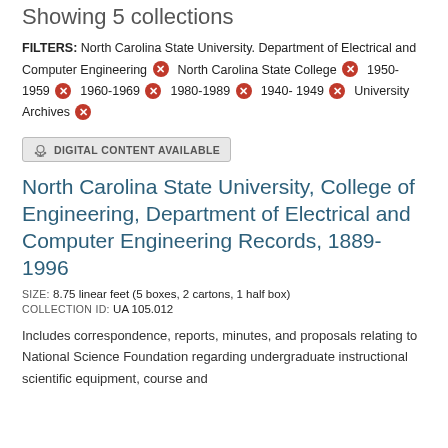Showing 5 collections
FILTERS: North Carolina State University. Department of Electrical and Computer Engineering × North Carolina State College × 1950-1959 × 1960-1969 × 1980-1989 × 1940-1949 × University Archives ×
[Figure (other): Digital content available badge with cloud/links icon]
North Carolina State University, College of Engineering, Department of Electrical and Computer Engineering Records, 1889-1996
SIZE: 8.75 linear feet (5 boxes, 2 cartons, 1 half box)
COLLECTION ID: UA 105.012
Includes correspondence, reports, minutes, and proposals relating to National Science Foundation regarding undergraduate instructional scientific equipment, course and